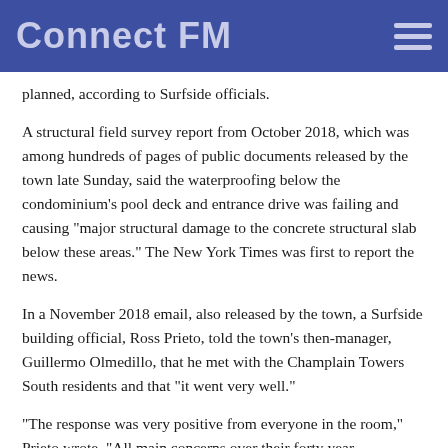Connect FM
planned, according to Surfside officials.
A structural field survey report from October 2018, which was among hundreds of pages of public documents released by the town late Sunday, said the waterproofing below the condominium’s pool deck and entrance drive was failing and causing “major structural damage to the concrete structural slab below these areas.” The New York Times was first to report the news.
In a November 2018 email, also released by the town, a Surfside building official, Ross Prieto, told the town’s then-manager, Guillermo Olmedillo, that he met with the Champlain Towers South residents and that “it went very well.”
“The response was very positive from everyone in the room,” Prieto wrote. “All main concerns over their forty year recertification process were addressed. This particular building is not due to begin their forty year until 2021 but they have